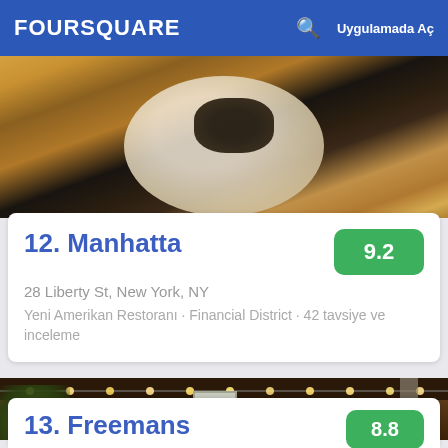FOURSQUARE  Uygulamada Aç
[Figure (photo): Food dish photo - meat with dark truffle topping on a white plate with orange sauce]
12. Manhatta
28 Liberty St, New York, NY
Yeni Amerikan Restoranı · Financial District · 42 tavsiye ve inceleme
[Figure (photo): Restaurant exterior with string lights, wooden facade, brick columns, plants, and a French bistro-style entrance]
13. Freemans